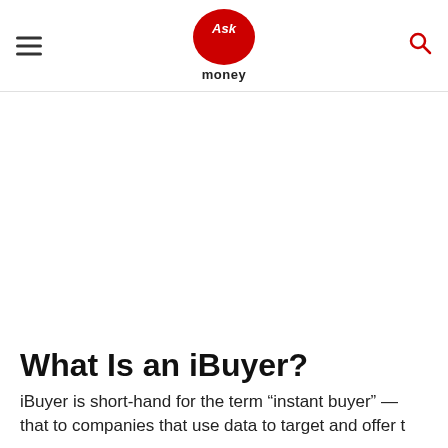Ask money
What Is an iBuyer?
iBuyer is short-hand for the term “instant buyer” — that to companies that use data to target and offer t